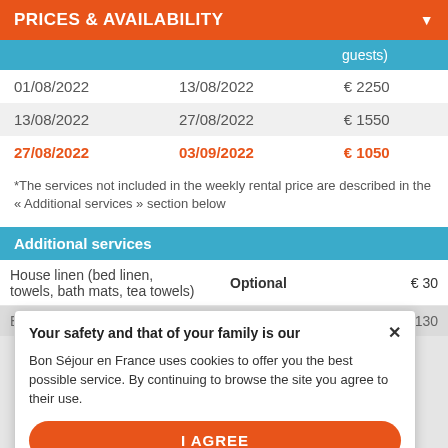PRICES & AVAILABILITY
|  |  | guests) |
| --- | --- | --- |
| 01/08/2022 | 13/08/2022 | € 2250 |
| 13/08/2022 | 27/08/2022 | € 1550 |
| 27/08/2022 | 03/09/2022 | € 1050 |
*The services not included in the weekly rental price are described in the « Additional services » section below
Additional services
|  |  |  |
| --- | --- | --- |
| House linen (bed linen, towels, bath mats, tea towels) | Optional | € 30 |
| End of stay cleaning | Mandatory | €130 |
CON
priority
Your safety and that of your family is our
Bon Séjour en France uses cookies to offer you the best possible service. By continuing to browse the site you agree to their use.